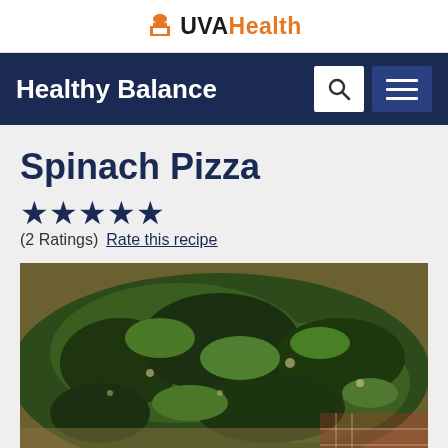UVA Health
Healthy Balance
Spinach Pizza
★★★★★ (2 Ratings) Rate this recipe
[Figure (photo): Close-up photograph of a spinach pizza with wilted green spinach topping on a flatbread crust]